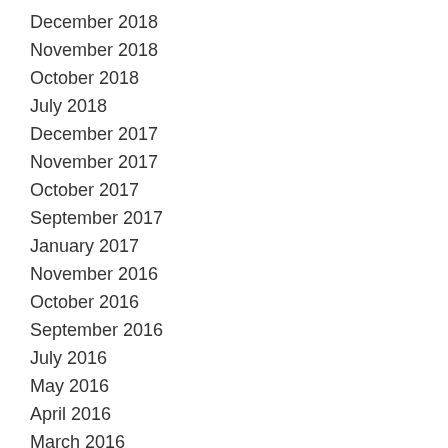December 2018
November 2018
October 2018
July 2018
December 2017
November 2017
October 2017
September 2017
January 2017
November 2016
October 2016
September 2016
July 2016
May 2016
April 2016
March 2016
February 2016
January 2016
December 2015
November 2015